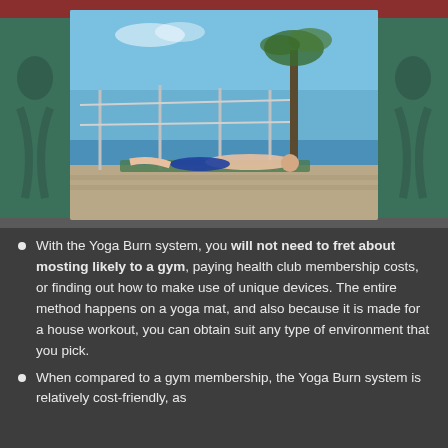[Figure (photo): Person lying on a yoga mat on an outdoor platform or deck near the ocean, with a palm tree and blue sky in the background.]
With the Yoga Burn system, you will not need to fret about mosting likely to a gym, paying health club membership costs, or finding out how to make use of unique devices. The entire method happens on a yoga mat, and also because it is made for a house workout, you can obtain suit any type of environment that you pick.
When compared to a gym membership, the Yoga Burn system is relatively cost-friendly, as